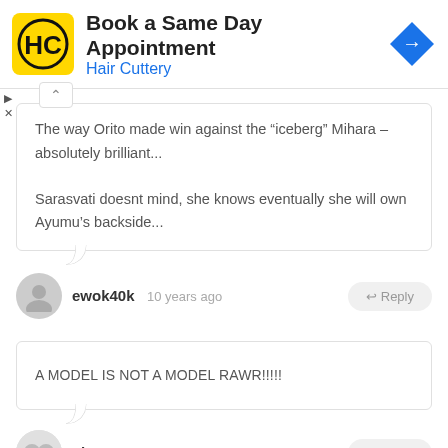[Figure (illustration): Hair Cuttery ad banner with yellow logo, title 'Book a Same Day Appointment', subtitle 'Hair Cuttery', and blue navigation arrow icon]
The way Orito made win against the "iceberg" Mihara – absolutely brilliant...
Sarasvati doesnt mind, she knows eventually she will own Ayumu's backside...
ewok40k  10 years ago  ← Reply
A MODEL IS NOT A MODEL RAWR!!!!!
Tingster013  10 years ago  ← Reply